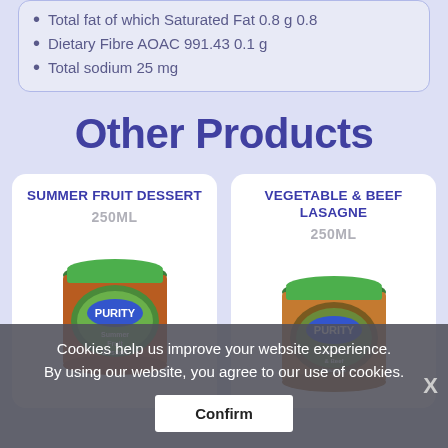Total fat of which Saturated Fat 0.8 g 0.8
Dietary Fibre AOAC 991.43 0.1 g
Total sodium 25 mg
Other Products
[Figure (photo): Product card showing SUMMER FRUIT DESSERT 250ML with a Purity jar illustration containing summer fruit dessert, toddler label]
[Figure (photo): Product card showing VEGETABLE & BEEF LASAGNE 250ML with a Purity jar illustration containing vegetable and beef stew]
Cookies help us improve your website experience. By using our website, you agree to our use of cookies.